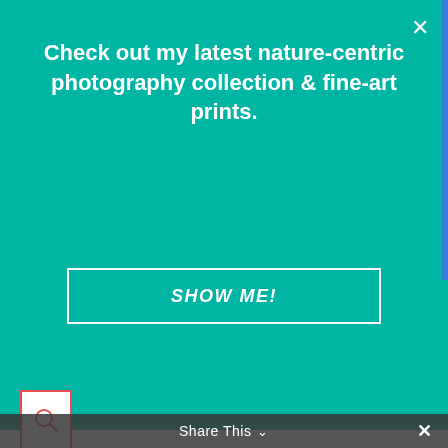Check out my latest nature-centric photography collection & fine-art prints.
SHOW ME!
[Figure (logo): SNFD restaurant/food blog logo with fork, plate, and knife]
I love these skewers. They are extra long, sharp, they last for ever and you can flip them over on the grill without the ingredients spinning. I highly recommend them. Just be careful they do get hot so you need to use a hot pad or a glove when you are grilling with them.
Share This